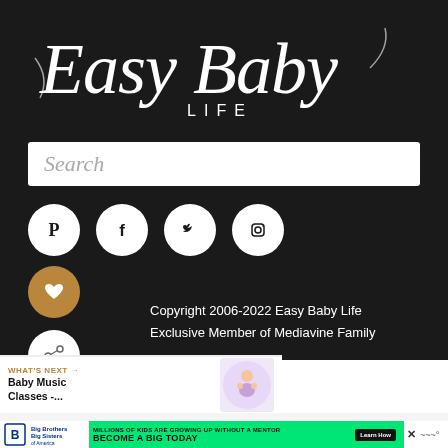[Figure (logo): Easy Baby Life cursive script logo in white on dark background]
Search
[Figure (infographic): Social media icons: Pinterest, Facebook, Twitter, Instagram in white circles]
[Figure (infographic): Heart button in gold/bronze circle and share button in white circle]
Copyright 2006-2022 Easy Baby Life
Exclusive Member of Mediavine Family
WHAT'S NEXT → Baby Music Classes -...
[Figure (photo): Baby music classes thumbnail image]
[Figure (infographic): Big Brothers Big Sisters advertisement: MILLIONS OF KIDS ARE GROWING UP WITHOUT A MENTOR. BECOME A BIG TODAY. Learn How button.]